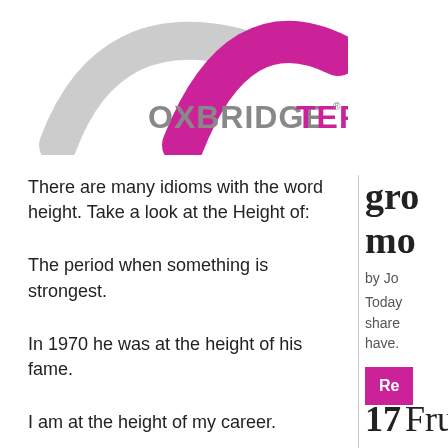[Figure (logo): OxbridgeTEFL logo with grey and magenta swoosh arches above the text OXBRIDGETEFL]
There are many idioms with the word height. Take a look at the Height of:
The period when something is strongest.
In 1970 he was at the height of his fame.
I am at the height of my career.
gro mo
by Jo
Today share have.
Re
17 Fru